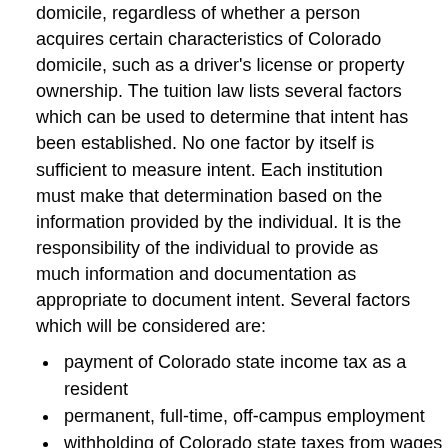domicile, regardless of whether a person acquires certain characteristics of Colorado domicile, such as a driver's license or property ownership. The tuition law lists several factors which can be used to determine that intent has been established. No one factor by itself is sufficient to measure intent. Each institution must make that determination based on the information provided by the individual. It is the responsibility of the individual to provide as much information and documentation as appropriate to document intent. Several factors which will be considered are:
payment of Colorado state income tax as a resident
permanent, full-time, off-campus employment
withholding of Colorado state taxes from wages
obtaining a Colorado Motor Vehicle Operator's License or a valid Colorado ID for identification purposes
obtaining Colorado license plates
registering to vote in Colorado
ownership of residential real property in Colorado